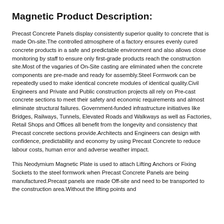Magnetic Product Description:
Precast Concrete Panels display consistently superior quality to concrete that is made On-site.The controlled atmosphere of a factory ensures evenly cured concrete products in a safe and predictable environment and also allows close monitoring by staff to ensure only first-grade products reach the construction site.Most of the vagaries of On-Site casting are eliminated when the concrete components are pre-made and ready for assembly.Steel Formwork can be repeatedly used to make identical concrete modules of identical quality.Civil Engineers and Private and Public construction projects all rely on Pre-cast concrete sections to meet their safety and economic requirements and almost eliminate structural failures. Government-funded infrastructure initiatives like Bridges, Railways, Tunnels, Elevated Roads and Walkways as well as Factories, Retail Shops and Offices all benefit from the longevity and consistency that Precast concrete sections provide.Architects and Engineers can design with confidence, predictability and economy by using Precast Concrete to reduce labour costs, human error and adverse weather impact.
This Neodymium Magnetic Plate is used to attach Lifting Anchors or Fixing Sockets to the steel formwork when Precast Concrete Panels are being manufactured.Precast panels are made Off-site and need to be transported to the construction area.Without the lifting points and